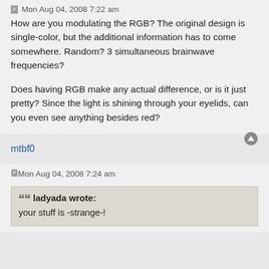Mon Aug 04, 2008 7:22 am
How are you modulating the RGB? The original design is single-color, but the additional information has to come somewhere. Random? 3 simultaneous brainwave frequencies?
Does having RGB make any actual difference, or is it just pretty? Since the light is shining through your eyelids, can you even see anything besides red?
mtbf0
Mon Aug 04, 2008 7:24 am
ladyada wrote:
your stuff is -strange-!